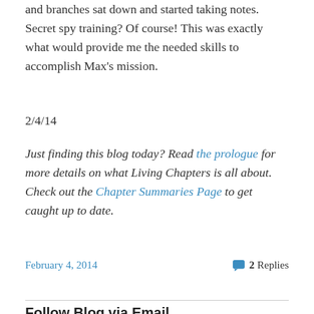and branches sat down and started taking notes. Secret spy training? Of course! This was exactly what would provide me the needed skills to accomplish Max's mission.
2/4/14
Just finding this blog today? Read the prologue for more details on what Living Chapters is all about. Check out the Chapter Summaries Page to get caught up to date.
February 4, 2014
2 Replies
Follow Blog via Email
Enter your email address to follow this blog and receive notifications of new posts by email.